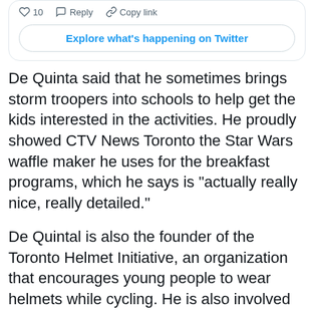[Figure (screenshot): Top of a Twitter embed card showing reaction icons (like count '10', Reply, Copy link) and an 'Explore what's happening on Twitter' button]
De Quinta said that he sometimes brings storm troopers into schools to help get the kids interested in the activities. He proudly showed CTV News Toronto the Star Wars waffle maker he uses for the breakfast programs, which he says is "actually really nice, really detailed."
De Quintal is also the founder of the Toronto Helmet Initiative, an organization that encourages young people to wear helmets while cycling. He is also involved in bicycle rodeos, blood drives, Lego clubs, and the CAA School Safety Patroller Program, which helps educate kids about safe road-crossing practices.
"The bike rodeo program is, right now, for grades four and five, but now I have some of those kids coming back as Grade 10s, volunteering for the same program they participated (in) with me and that to me is a huge